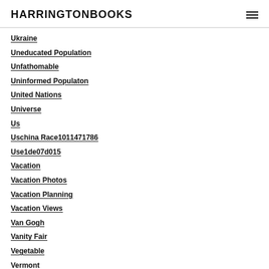HARRINGTONBOOKS
Ukraine
Uneducated Population
Unfathomable
Uninformed Populaton
United Nations
Universe
Us
Uschina Race1011471786
Use1de07d015
Vacation
Vacation Photos
Vacation Planning
Vacation Views
Van Gogh
Vanity Fair
Vegetable
Vermont